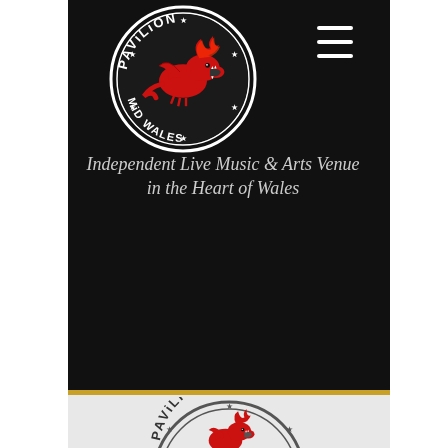[Figure (logo): Pavilion Mid Wales circular logo with red dragon, white text reading PAViLiON and MiD WALES around the border, on black background]
Independent Live Music & Arts Venue in the Heart of Wales
[Figure (logo): Pavilion Mid Wales circular logo with red dragon, black and white version on light grey background]